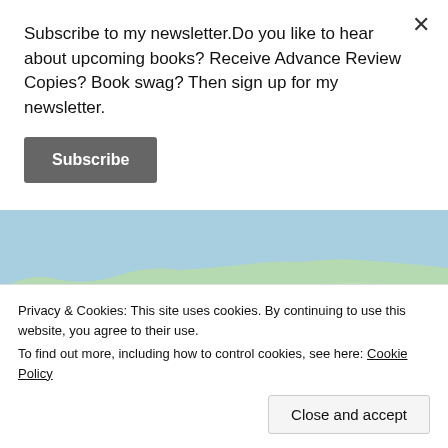Subscribe to my newsletter.Do you like to hear about upcoming books? Receive Advance Review Copies? Book swag? Then sign up for my newsletter.
Subscribe
[Figure (map): Map showing coastal Scotland with locations Lossiemouth, Findhorn, Buckie marked, with a blue route line along the coast. Partially visible.]
Privacy & Cookies: This site uses cookies. By continuing to use this website, you agree to their use.
To find out more, including how to control cookies, see here: Cookie Policy
Close and accept